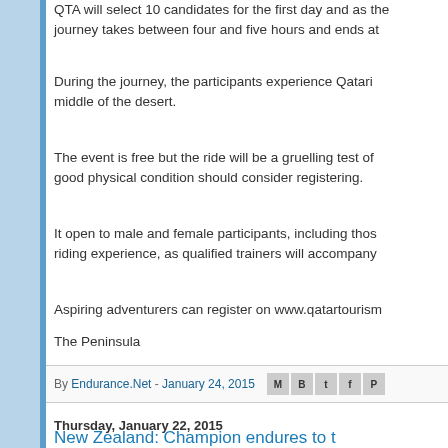QTA will select 10 candidates for the first day and as the journey takes between four and five hours and ends at
During the journey, the participants experience Qatari middle of the desert.
The event is free but the ride will be a gruelling test of good physical condition should consider registering.
It open to male and female participants, including those riding experience, as qualified trainers will accompany
Aspiring adventurers can register on www.qatartourism
The Peninsula
By Endurance.Net - January 24, 2015
Thursday, January 22, 2015
New Zealand: Champion endures to t